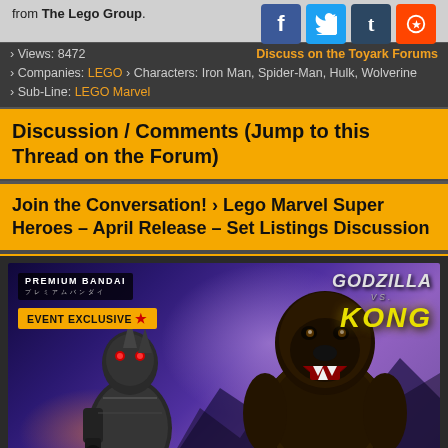from The Lego Group.
[Figure (other): Social media share icons: Facebook (blue f), Twitter (blue bird), Tumblr (dark blue t), Reddit (orange alien)]
› Views: 8472    Discuss on the Toyark Forums
› Companies: LEGO › Characters: Iron Man, Spider-Man, Hulk, Wolverine › Sub-Line: LEGO Marvel
Discussion / Comments (Jump to this Thread on the Forum)
Join the Conversation! › Lego Marvel Super Heroes – April Release – Set Listings Discussion
[Figure (photo): Premium Bandai Event Exclusive advertisement for Godzilla vs. Kong figures. Shows Mechagodzilla and Kong action figures against a purple/blue mountain background. Text: PREMIUM BANDAI, EVENT EXCLUSIVE, GODZILLA VS. KONG.]